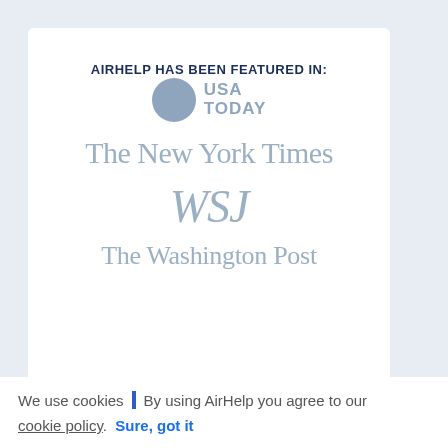AIRHELP HAS BEEN FEATURED IN:
[Figure (logo): USA Today logo with grey circle and bold grey text 'USA TODAY']
[Figure (logo): The New York Times logo in grey serif font]
[Figure (logo): WSJ logo in grey italic serif font]
[Figure (logo): The Washington Post logo in grey serif font]
We use cookies | By using AirHelp you agree to our
cookie policy.  Sure, got it